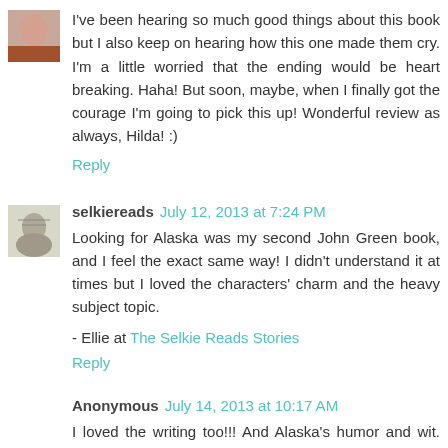[Figure (photo): Small avatar photo of a person (partial face visible, top corner)]
I've been hearing so much good things about this book but I also keep on hearing how this one made them cry. I'm a little worried that the ending would be heart breaking. Haha! But soon, maybe, when I finally got the courage I'm going to pick this up! Wonderful review as always, Hilda! :)
Reply
[Figure (illustration): Small avatar sketch/illustration of a person]
selkiereads July 12, 2013 at 7:24 PM
Looking for Alaska was my second John Green book, and I feel the exact same way! I didn't understand it at times but I loved the characters' charm and the heavy subject topic.
- Ellie at The Selkie Reads Stories
Reply
Anonymous July 14, 2013 at 10:17 AM
I loved the writing too!!! And Alaska's humor and wit. Perfect!